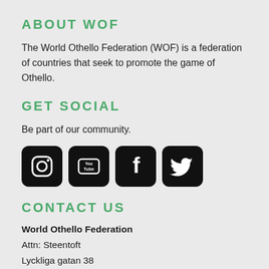ABOUT WOF
The World Othello Federation (WOF) is a federation of countries that seek to promote the game of Othello.
GET SOCIAL
Be part of our community.
[Figure (infographic): Four social media icons: Instagram, YouTube, Facebook, Twitter — black rounded square icons]
CONTACT US
World Othello Federation
Attn: Steentoft
Lyckliga gatan 38